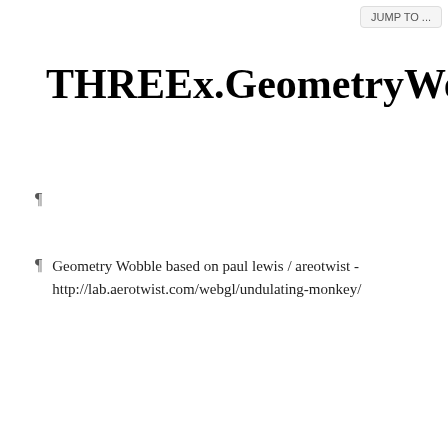JUMP TO ...
THREEx.GeometryWobble.js
¶
¶  Geometry Wobble based on paul lewis / areotwist - http://lab.aerotwist.com/webgl/undulating-monkey/